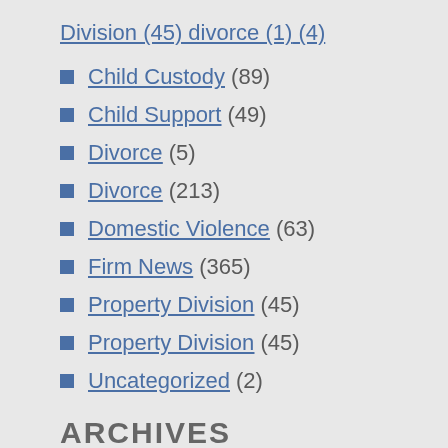Division (45) divorce (1) (4)
Child Custody (89)
Child Support (49)
Divorce (5)
Divorce (213)
Domestic Violence (63)
Firm News (365)
Property Division (45)
Property Division (45)
Uncategorized (2)
ARCHIVES